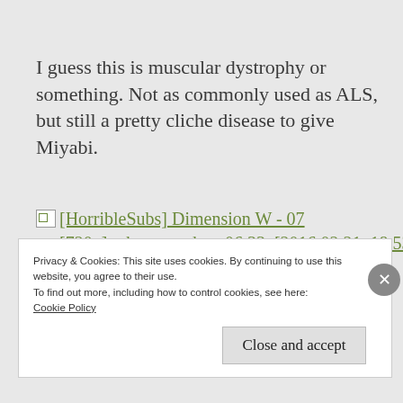I guess this is muscular dystrophy or something. Not as commonly used as ALS, but still a pretty cliche disease to give Miyabi.
[Figure (screenshot): Broken image placeholder followed by green hyperlink text: [HorribleSubs] Dimension W - 07 [720p].mkv_snapshot_06.33_[2016.02.21_18.53.51]]
Privacy & Cookies: This site uses cookies. By continuing to use this website, you agree to their use.
To find out more, including how to control cookies, see here: Cookie Policy
Close and accept